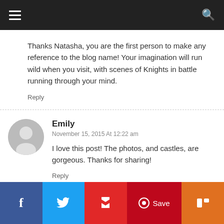Navigation bar with hamburger menu and search icon
Thanks Natasha, you are the first person to make any reference to the blog name! Your imagination will run wild when you visit, with scenes of Knights in battle running through your mind.
Reply
Emily
November 15, 2015 At 12:22 am
I love this post! The photos, and castles, are gorgeous. Thanks for sharing!
Reply
Dean
f  Twitter  Flipboard  Save  Mix